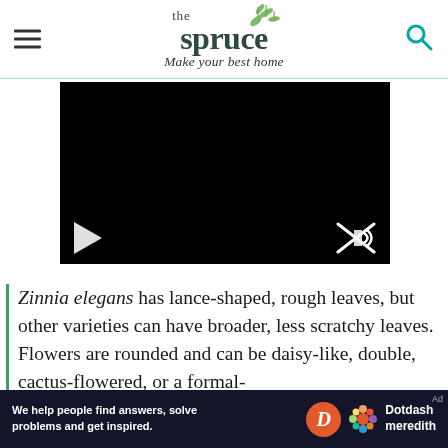the spruce — Make your best home
[Figure (screenshot): Black video player with play button on left and muted/crossed speaker icon on right]
Zinnia elegans has lance-shaped, rough leaves, but other varieties can have broader, less scratchy leaves. Flowers are rounded and can be daisy-like, double, cactus-flowered, or a formal-
[Figure (other): Dotdash Meredith advertisement banner: 'We help people find answers, solve problems and get inspired.']